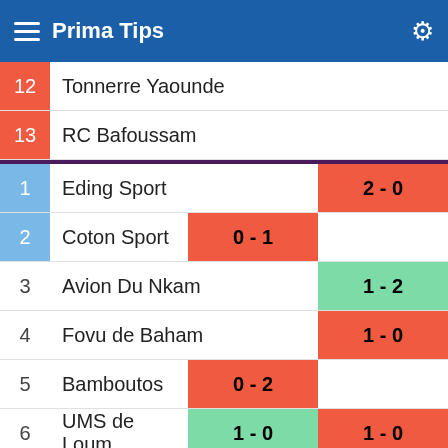Prima Tips
12  Tonnerre Yaounde
13  RC Bafoussam
1  Eding Sport  2 - 0
2  Coton Sport  0 - 1
3  Avion Du Nkam  1 - 2
4  Fovu de Baham  1 - 0
5  Bamboutos  0 - 2
6  UMS de Loum  1 - 0  1 - 0
7  PWD Bamenda
8  New Star Douala  1 - 1
9  CETA de Kribi  2 - 2